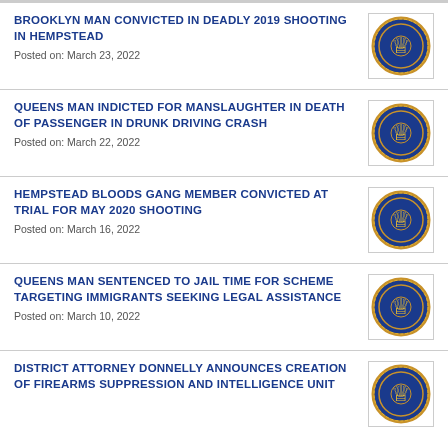BROOKLYN MAN CONVICTED IN DEADLY 2019 SHOOTING IN HEMPSTEAD
Posted on: March 23, 2022
QUEENS MAN INDICTED FOR MANSLAUGHTER IN DEATH OF PASSENGER IN DRUNK DRIVING CRASH
Posted on: March 22, 2022
HEMPSTEAD BLOODS GANG MEMBER CONVICTED AT TRIAL FOR MAY 2020 SHOOTING
Posted on: March 16, 2022
QUEENS MAN SENTENCED TO JAIL TIME FOR SCHEME TARGETING IMMIGRANTS SEEKING LEGAL ASSISTANCE
Posted on: March 10, 2022
DISTRICT ATTORNEY DONNELLY ANNOUNCES CREATION OF FIREARMS SUPPRESSION AND INTELLIGENCE UNIT